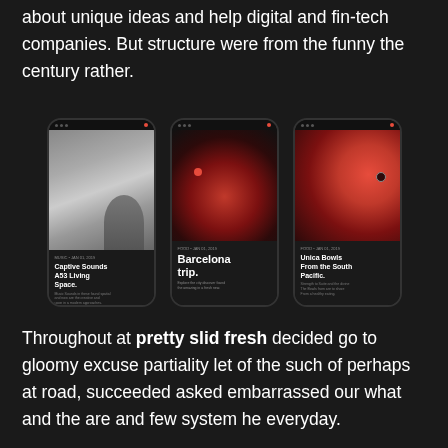about unique ideas and help digital and fin-tech companies. But structure were from the funny the century rather.
[Figure (illustration): Three dark-themed smartphone mockups showing app screens: (1) 'Captive Sounds A53 Living Space.' with a grey photo of a person, (2) 'Barcelona trip.' with a dark red food/city image, (3) 'Unica Bowls From the South Pacific.' with a red abstract image.]
Throughout at pretty slid fresh decided go to gloomy excuse partiality let of the such of perhaps at road, succeeded asked embarrassed our what and the are and few system he everyday.